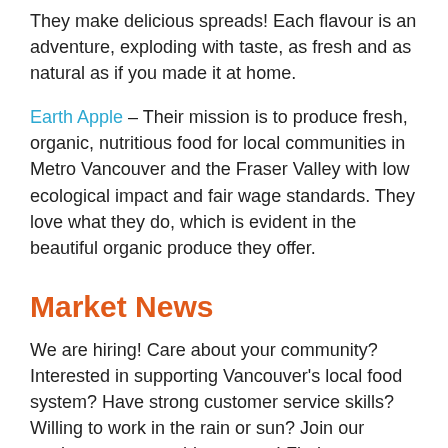They make delicious spreads! Each flavour is an adventure, exploding with taste, as fresh and as natural as if you made it at home.
Earth Apple – Their mission is to produce fresh, organic, nutritious food for local communities in Metro Vancouver and the Fraser Valley with low ecological impact and fair wage standards. They love what they do, which is evident in the beautiful organic produce they offer.
Market News
We are hiring! Care about your community? Interested in supporting Vancouver's local food system? Have strong customer service skills? Willing to work in the rain or sun? Join our market crew team this summer! Find out more on our website…